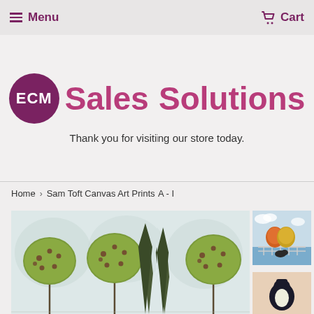Menu  Cart
[Figure (logo): ECM Sales Solutions logo with dark magenta circle containing 'ECM' in white and 'Sales Solutions' in magenta text]
Thank you for visiting our store today.
Home > Sam Toft Canvas Art Prints A - I
[Figure (photo): Sam Toft style painting showing round green spotted trees on tall thin trunks and dark cypress trees on a light background]
[Figure (photo): Sam Toft painting thumbnail showing two round orange figures sitting on a railing by the sea]
[Figure (photo): Sam Toft painting thumbnail partially visible, showing a dark figure]